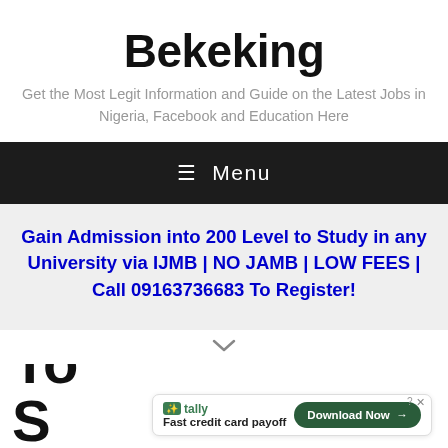Bekeking
Get the Most Legit Information and Guide on the Latest Jobs in Nigeria, Facebook and Education Here
≡ Menu
Gain Admission into 200 Level to Study in any University via IJMB | NO JAMB | LOW FEES | Call 09163736683 To Register!
[Figure (screenshot): Chevron/down arrow symbol]
To S...
[Figure (infographic): Tally advertisement: Fast credit card payoff with Download Now button]